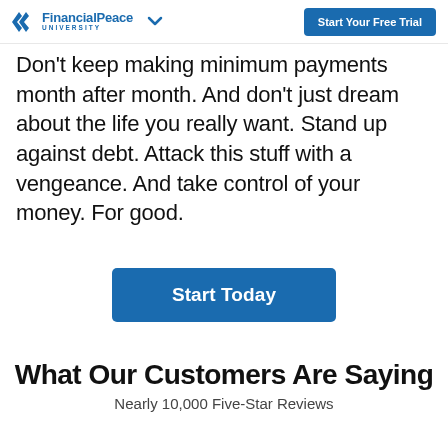FinancialPeace University | Start Your Free Trial
Don't keep making minimum payments month after month. And don't just dream about the life you really want. Stand up against debt. Attack this stuff with a vengeance. And take control of your money. For good.
Start Today
What Our Customers Are Saying
Nearly 10,000 Five-Star Reviews